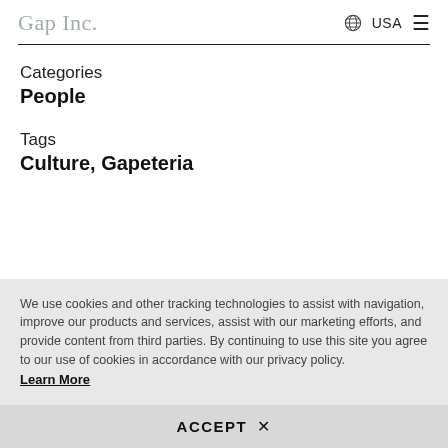Gap Inc. | USA
Categories
People
Tags
Culture, Gapeteria
We use cookies and other tracking technologies to assist with navigation, improve our products and services, assist with our marketing efforts, and provide content from third parties. By continuing to use this site you agree to our use of cookies in accordance with our privacy policy. Learn More
ACCEPT ×